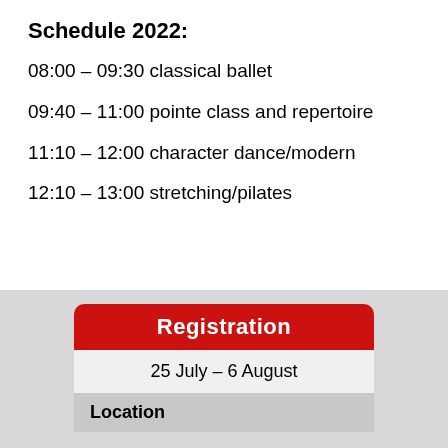Schedule 2022:
08:00 – 09:30 classical ballet
09:40 – 11:00 pointe class and repertoire
11:10 – 12:00 character dance/modern
12:10 – 13:00 stretching/pilates
Registration
25 July – 6 August
Location